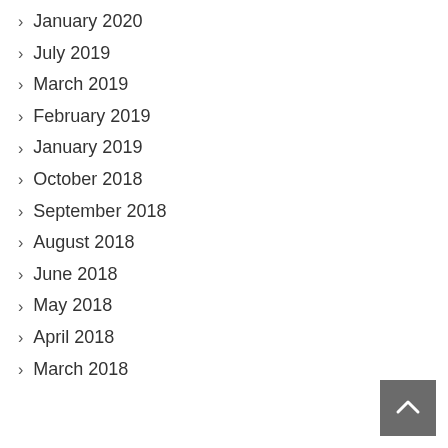January 2020
July 2019
March 2019
February 2019
January 2019
October 2018
September 2018
August 2018
June 2018
May 2018
April 2018
March 2018